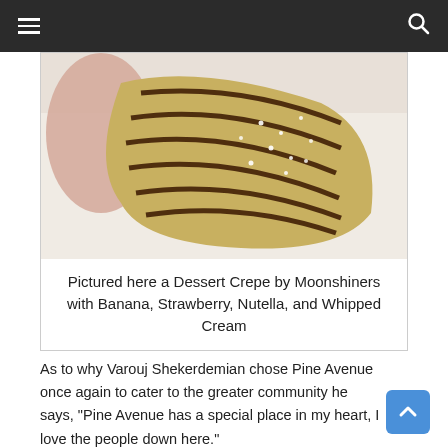≡  🔍
[Figure (photo): Close-up photo of a dessert crepe with chocolate drizzle stripes and powdered sugar on a white surface, held in hand.]
Pictured here a Dessert Crepe by Moonshiners with Banana, Strawberry, Nutella, and Whipped Cream
As to why Varouj Shekerdemian chose Pine Avenue once again to cater to the greater community he says, "Pine Avenue has a special place in my heart, I love the people down here."